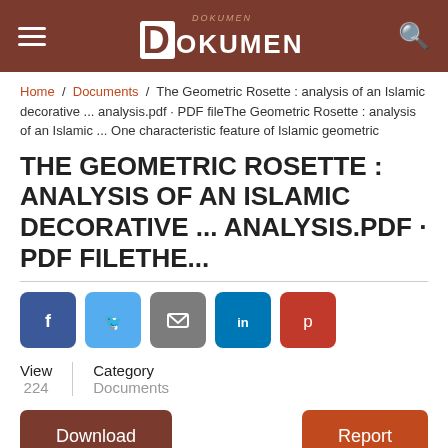Dokumen (website header with logo)
Home / Documents / The Geometric Rosette : analysis of an Islamic decorative ... analysis.pdf · PDF fileThe Geometric Rosette : analysis of an Islamic ... One characteristic feature of Islamic geometric
THE GEOMETRIC ROSETTE : ANALYSIS OF AN ISLAMIC DECORATIVE ... ANALYSIS.PDF · PDF FILETHE...
[Figure (other): Social sharing buttons: Facebook, Twitter, Email, LinkedIn, Pinterest]
View
224
Category
Documents
Download    Report